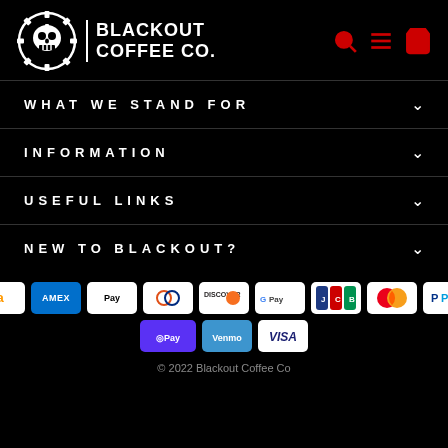[Figure (logo): Blackout Coffee Co. logo with gear and skull icon]
WHAT WE STAND FOR
INFORMATION
USEFUL LINKS
NEW TO BLACKOUT?
[Figure (infographic): Payment method badges: Amazon, Amex, Apple Pay, Diners Club, Discover, Google Pay, JCB, Mastercard, PayPal, Shop Pay, Venmo, Visa]
© 2022 Blackout Coffee Co